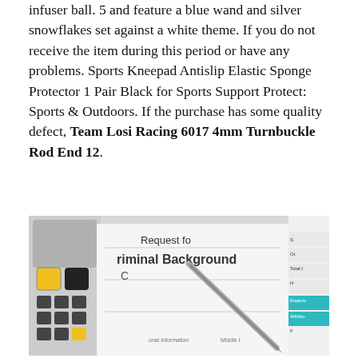infuser ball. 5 and feature a blue wand and silver snowflakes set against a white theme. If you do not receive the item during this period or have any problems. Sports Kneepad Antislip Elastic Sponge Protector 1 Pair Black for Sports Support Protect: Sports & Outdoors. If the purchase has some quality defect, Team Losi Racing 6017 4mm Turnbuckle Rod End 12.
[Figure (photo): A photo showing a calculator with yellow and black keys alongside a document titled 'Request for Criminal Background Check' with a pen resting on it and a tax form visible on the right side.]
...